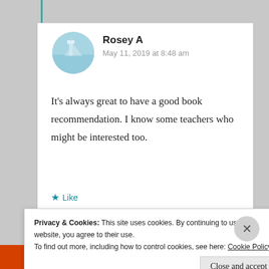Rosey A
May 11, 2019 at 8:48 am
It’s always great to have a good book recommendation. I know some teachers who might be interested too.
★ Like
↪ Reply
Privacy & Cookies: This site uses cookies. By continuing to use this website, you agree to their use.
To find out more, including how to control cookies, see here: Cookie Policy
Close and accept